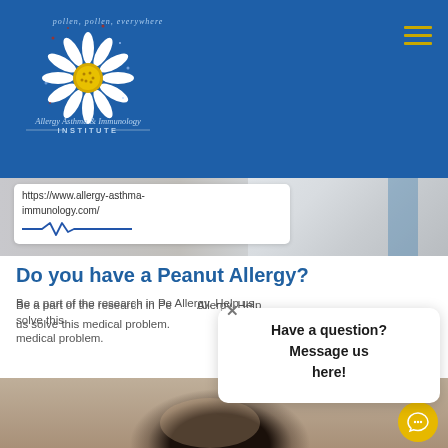[Figure (screenshot): Blue header navigation bar with Allergy Asthma & Immunology Institute daisy logo and hamburger menu icon]
[Figure (screenshot): Website URL bar showing https://www.allergy-asthma-immunology.com/ with heartbeat line graphic, overlaid on hero image of person in white coat]
Do you have a Peanut Allergy?
Be a part of the research in Peanut Allergy. Help us solve this medical problem.
[Figure (screenshot): Chat popup overlay with close X button and text: Have a question? Message us here!]
[Figure (photo): Partial photo of a person with dark hair, bottom of page]
[Figure (illustration): Yellow circular chat bubble button in bottom right corner]